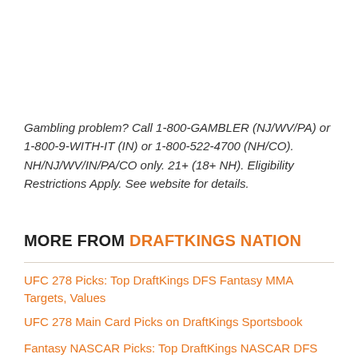Gambling problem? Call 1-800-GAMBLER (NJ/WV/PA) or 1-800-9-WITH-IT (IN) or 1-800-522-4700 (NH/CO). NH/NJ/WV/IN/PA/CO only. 21+ (18+ NH). Eligibility Restrictions Apply. See website for details.
MORE FROM DRAFTKINGS NATION
UFC 278 Picks: Top DraftKings DFS Fantasy MMA Targets, Values
UFC 278 Main Card Picks on DraftKings Sportsbook
Fantasy NASCAR Picks: Top DraftKings NASCAR DFS